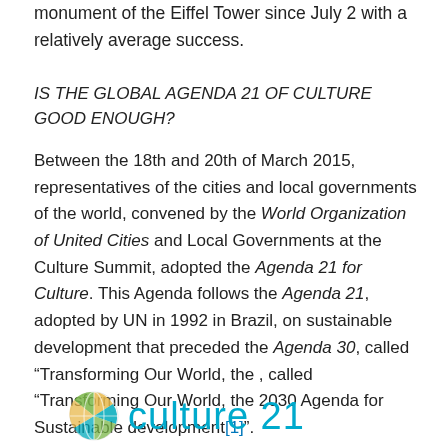monument of the Eiffel Tower since July 2 with a relatively average success.
IS THE GLOBAL AGENDA 21 OF CULTURE GOOD ENOUGH?
Between the 18th and 20th of March 2015, representatives of the cities and local governments of the world, convened by the World Organization of United Cities and Local Governments at the Culture Summit, adopted the Agenda 21 for Culture. This Agenda follows the Agenda 21, adopted by UN in 1992 in Brazil, on sustainable development that preceded the Agenda 30, called “Transforming Our World, the , called “Transforming Our World, the 2030 Agenda for Sustainable development[1]”.
[Figure (logo): Culture 21 logo: globe icon with coloured segments (green, gold, teal) on the left, followed by the text 'culture 21' in teal/cyan colour]